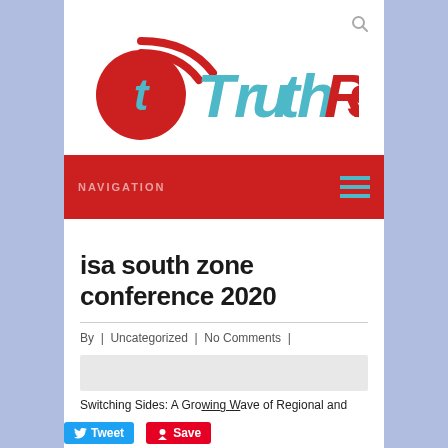[Figure (logo): TruthRss logo with red circle T icon and cyan/red TruthRss wordmark]
NAVIGATION
isa south zone conference 2020
By | Uncategorized | No Comments |
[Figure (other): Gray placeholder image area]
Switching Sides: A Growing Wave of Regional and